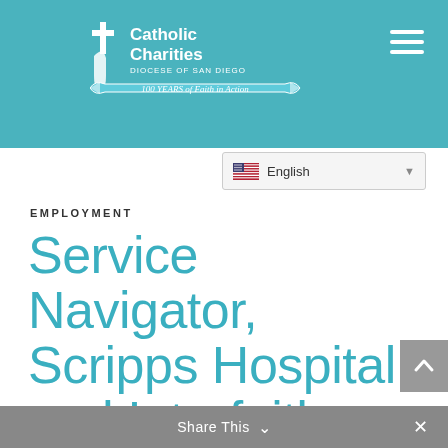[Figure (logo): Catholic Charities Diocese of San Diego logo — 100 Years of Faith in Action — white cross and text on teal header background]
Catholic Charities Diocese of San Diego — 100 YEARS of Faith in Action
English (language selector dropdown)
EMPLOYMENT
Service Navigator, Scripps Hospital and Interfaith Shelter Network
Share This